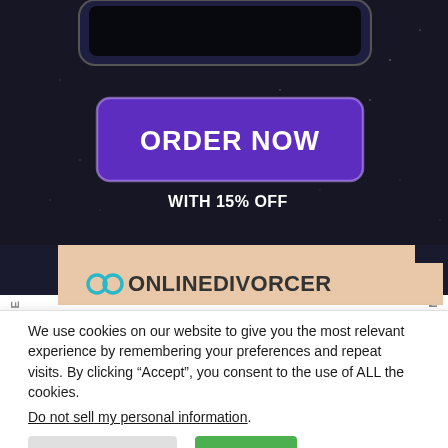[Figure (screenshot): Dark phone screenshot showing an ORDER NOW button in purple with 'WITH 15% OFF' text below, on a dark starry background]
[Figure (logo): OnlineDivorcer logo with infinity/rings icon]
We use cookies on our website to give you the most relevant experience by remembering your preferences and repeat visits. By clicking “Accept”, you consent to the use of ALL the cookies.
Do not sell my personal information.